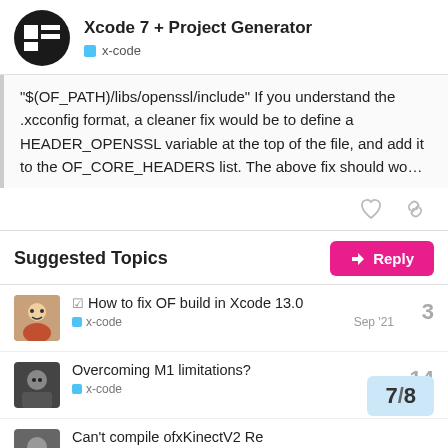Xcode 7 + Project Generator | x-code
"$(OF_PATH)/libs/openssl/include" If you understand the .xcconfig format, a cleaner fix would be to define a HEADER_OPENSSL variable at the top of the file, and add it to the OF_CORE_HEADERS list. The above fix should wo…
Suggested Topics
How to fix OF build in Xcode 13.0 | x-code | Sep '21 | 3
Overcoming M1 limitations? | x-code | 14
Can't compile ofxKinectV2 Re…